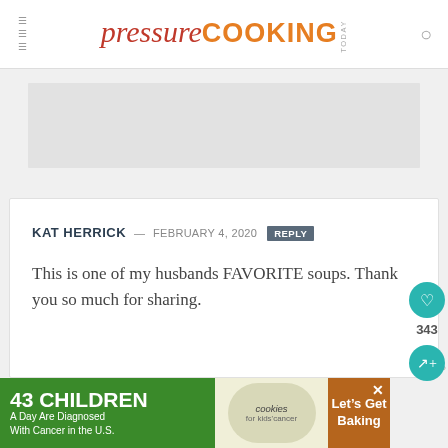pressure COOKING TODAY
[Figure (other): Gray placeholder/ad block at top]
KAT HERRICK — FEBRUARY 4, 2020 REPLY
This is one of my husbands FAVORITE soups. Thank you so much for sharing.
BARBARA SCHIEVING — FEBRUARY 4, 2020 REPLY
That's great to hear – thanks Kat!
[Figure (other): Bottom advertisement banner: 43 CHILDREN A Day Are Diagnosed With Cancer in the U.S. - cookies for kids cancer - Let's Get Baking]